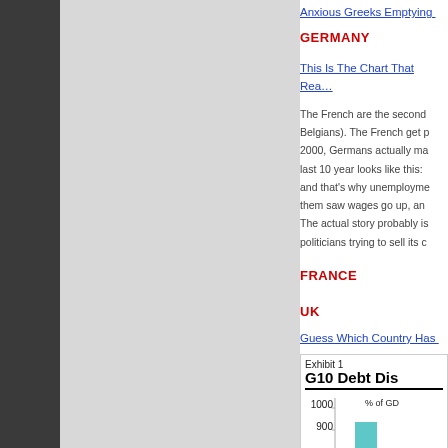Anxious Greeks Emptying …
GERMANY
This Is The Chart That Rea…
The French are the second… Belgians). The French get p… 2000, Germans actually ma… last 10 year looks like this: … and that's why unemployme… them saw wages go up, an… The actual story probably is… politicians trying to sell its c…
FRANCE
UK
Guess Which Country Has …
[Figure (other): Exhibit 1: G10 Debt Dis… chart showing % of GDP, with value around 900-1000, teal/cyan bar visible]